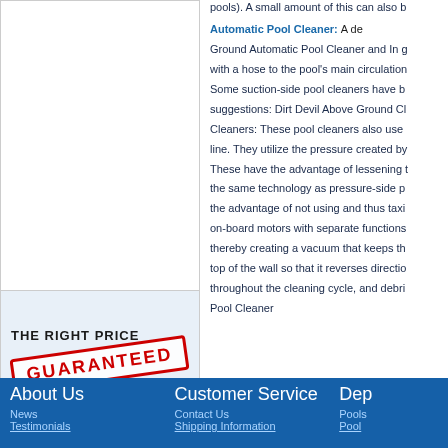pools). A small amount of this can also b...
Automatic Pool Cleaner:
A de... Ground Automatic Pool Cleaner and In g... with a hose to the pool's main circulation... Some suction-side pool cleaners have b... suggestions: Dirt Devil Above Ground Cl... Cleaners: These pool cleaners also use ... line. They utilize the pressure created by... These have the advantage of lessening t... the same technology as pressure-side p... the advantage of not using and thus taxi... on-board motors with separate functions... thereby creating a vacuum that keeps th... top of the wall so that it reverses directio... throughout the cleaning cycle, and debri... Pool Cleaner
[Figure (infographic): THE RIGHT PRICE GUARANTEED stamp banner]
EXPERT ADVICE
About Us
News
Testimonials
Customer Service
Contact Us
Shipping Information
Dep...
Pools...
Pool...